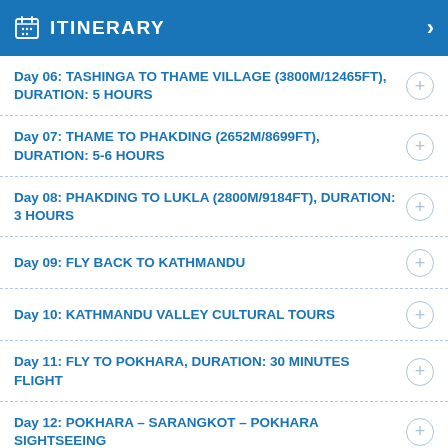ITINERARY
Day 06: TASHINGA TO THAME VILLAGE (3800M/12465FT), DURATION: 5 HOURS
Day 07: THAME TO PHAKDING (2652M/8699FT), DURATION: 5-6 HOURS
Day 08: PHAKDING TO LUKLA (2800M/9184FT), DURATION: 3 HOURS
Day 09: FLY BACK TO KATHMANDU
Day 10: KATHMANDU VALLEY CULTURAL TOURS
Day 11: FLY TO POKHARA, DURATION: 30 MINUTES FLIGHT
Day 12: POKHARA – SARANGKOT – POKHARA SIGHTSEEING
Day 13: POKHARA TO KATHMANDU